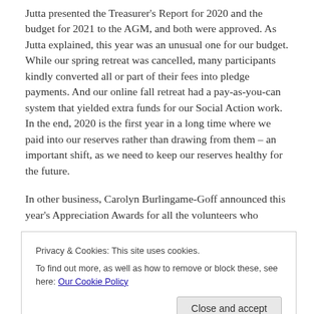Jutta presented the Treasurer's Report for 2020 and the budget for 2021 to the AGM, and both were approved. As Jutta explained, this year was an unusual one for our budget. While our spring retreat was cancelled, many participants kindly converted all or part of their fees into pledge payments. And our online fall retreat had a pay-as-you-can system that yielded extra funds for our Social Action work. In the end, 2020 is the first year in a long time where we paid into our reserves rather than drawing from them – an important shift, as we need to keep our reserves healthy for the future.
In other business, Carolyn Burlingame-Goff announced this year's Appreciation Awards for all the volunteers who
Privacy & Cookies: This site uses cookies.
To find out more, as well as how to remove or block these, see here: Our Cookie Policy
Close and accept
Peter Jarrett announced the spring 2021 retreat, which will